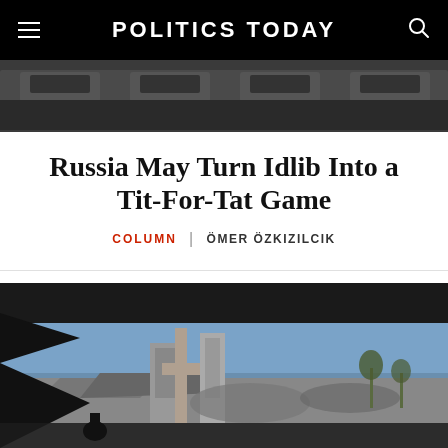POLITICS TODAY
[Figure (photo): Top banner showing military or transport vehicles, dark color]
Russia May Turn Idlib Into a Tit-For-Tat Game
COLUMN | ÖMER ÖZKIZILCIK
[Figure (photo): War damage scene showing destroyed building rubble under blue sky, viewed through dark foreground structure, black and white tones]